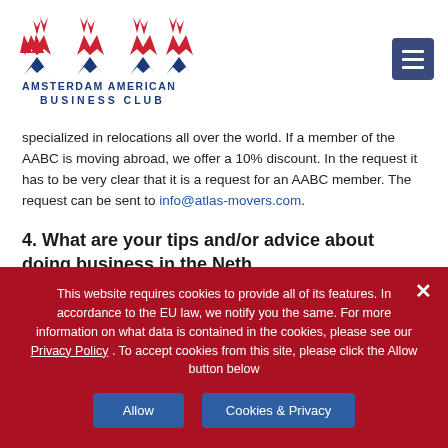[Figure (logo): Amsterdam American Business Club logo with red and blue geometric star/arrow shapes above the text]
specialized in relocations all over the world. If a member of the AABC is moving abroad, we offer a 10% discount. In the request it has to be very clear that it is a request for an AABC member. The request can be sent to info@atlas-movers.com.
4. What are your tips and/or advice about doing business in the Netherlands?
This website requires cookies to provide all of its features. In accordance to the EU law, we notify you the same. For more information on what data is contained in the cookies, please see our Privacy Policy . To accept cookies from this site, please click the Allow button below